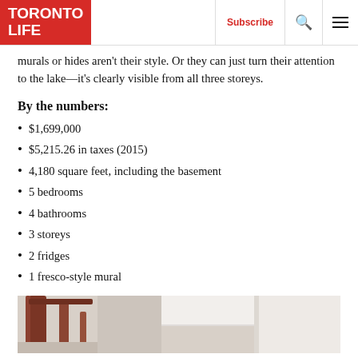TORONTO LIFE | Subscribe | [search] [menu]
murals or hides aren't their style. Or they can just turn their attention to the lake—it's clearly visible from all three storeys.
By the numbers:
$1,699,000
$5,215.26 in taxes (2015)
4,180 square feet, including the basement
5 bedrooms
4 bathrooms
3 storeys
2 fridges
1 fresco-style mural
[Figure (photo): Interior photo showing a wooden staircase railing and white ceiling/trim details of the house]